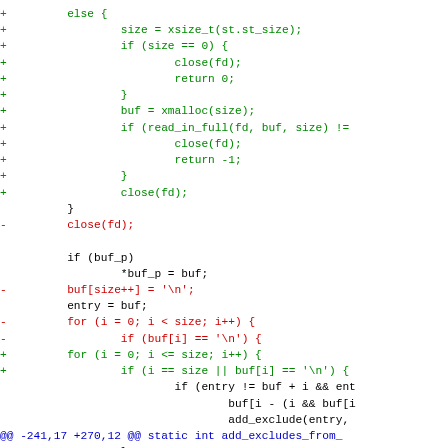[Figure (other): Git diff code snippet showing changes to a C file. Green lines (additions with +) show new code for file reading with xsize_t, xmalloc, read_in_full, close(fd). Red lines (deletions with -) show removed close(fd) and buf[size++] line and old for loop. Blue line shows @@ hunk header. Black lines show unchanged context code.]